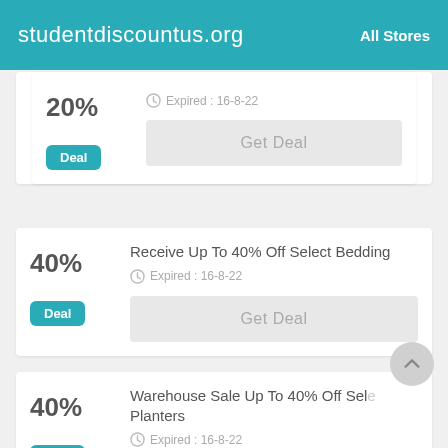studentdiscountus.org | All Stores
20% — Expired : 16-8-22 — Deal — Get Deal
Receive Up To 40% Off Select Bedding — Expired : 16-8-22 — Deal — Get Deal
Warehouse Sale Up To 40% Off Select Planters — Expired : 16-8-22 — Deal